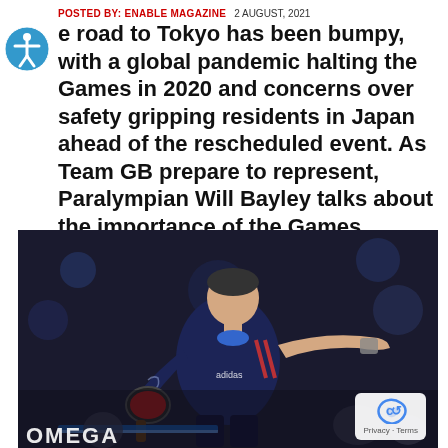POSTED BY: ENABLE MAGAZINE   2 AUGUST, 2021
The road to Tokyo has been bumpy, with a global pandemic halting the Games in 2020 and concerns over safety gripping residents in Japan ahead of the rescheduled event. As Team GB prepare to represent, Paralympian Will Bayley talks about the importance of the Games.
[Figure (photo): Paralympian Will Bayley in a dark blue Team GB Adidas table tennis kit, pointing to his right, during a competition. OMEGA branding visible at bottom. Dark arena background.]